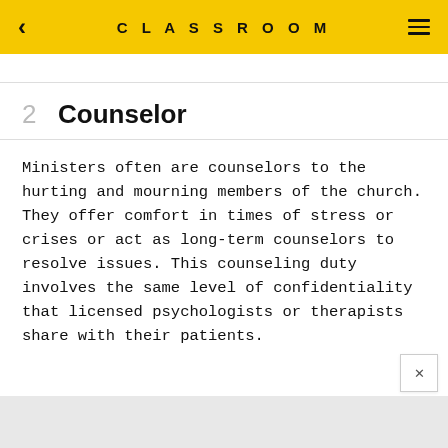CLASSROOM
2  Counselor
Ministers often are counselors to the hurting and mourning members of the church. They offer comfort in times of stress or crises or act as long-term counselors to resolve issues. This counseling duty involves the same level of confidentiality that licensed psychologists or therapists share with their patients.